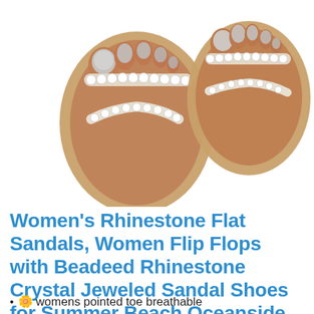[Figure (photo): Two rhinestone/beaded flat sandals with silver-painted toenails on women's feet, viewed from above on a white background.]
Women's Rhinestone Flat Sandals, Women Flip Flops with Beadeed Rhinestone Crystal Jeweled Sandal Shoes for Summer Beach Oceanside Holiday Outdoor
🌼 womens pointed toe breathable